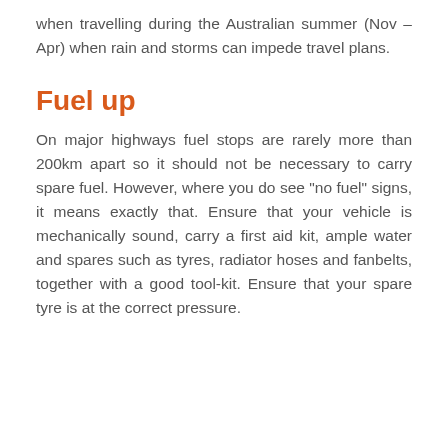when travelling during the Australian summer (Nov – Apr) when rain and storms can impede travel plans.
Fuel up
On major highways fuel stops are rarely more than 200km apart so it should not be necessary to carry spare fuel. However, where you do see “no fuel” signs, it means exactly that. Ensure that your vehicle is mechanically sound, carry a first aid kit, ample water and spares such as tyres, radiator hoses and fanbelts, together with a good tool-kit. Ensure that your spare tyre is at the correct pressure.